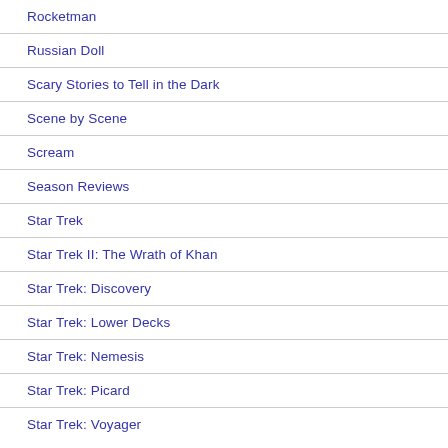Rocketman
Russian Doll
Scary Stories to Tell in the Dark
Scene by Scene
Scream
Season Reviews
Star Trek
Star Trek II: The Wrath of Khan
Star Trek: Discovery
Star Trek: Lower Decks
Star Trek: Nemesis
Star Trek: Picard
Star Trek: Voyager